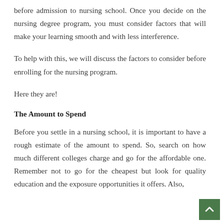before admission to nursing school. Once you decide on the nursing degree program, you must consider factors that will make your learning smooth and with less interference.
To help with this, we will discuss the factors to consider before enrolling for the nursing program.
Here they are!
The Amount to Spend
Before you settle in a nursing school, it is important to have a rough estimate of the amount to spend. So, search on how much different colleges charge and go for the affordable one. Remember not to go for the cheapest but look for quality education and the exposure opportunities it offers. Also,